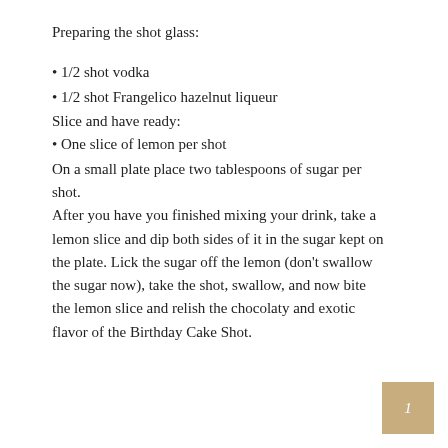Preparing the shot glass:
1/2 shot vodka
1/2 shot Frangelico hazelnut liqueur
Slice and have ready:
One slice of lemon per shot
On a small plate place two tablespoons of sugar per shot.
After you have you finished mixing your drink, take a lemon slice and dip both sides of it in the sugar kept on the plate. Lick the sugar off the lemon (don’t swallow the sugar now), take the shot, swallow, and now bite the lemon slice and relish the chocolaty and exotic flavor of the Birthday Cake Shot.
1